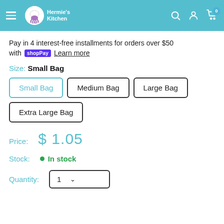[Figure (screenshot): Website header with teal/cyan background showing hamburger menu, Hermie's Kitchen logo with chef graphic, and icons for search, account, and cart (showing 0 items)]
Pay in 4 interest-free installments for orders over $50 with shop Pay Learn more
Size: Small Bag
Small Bag
Medium Bag
Large Bag
Extra Large Bag
Price: $ 1.05
Stock: In stock
Quantity: 1